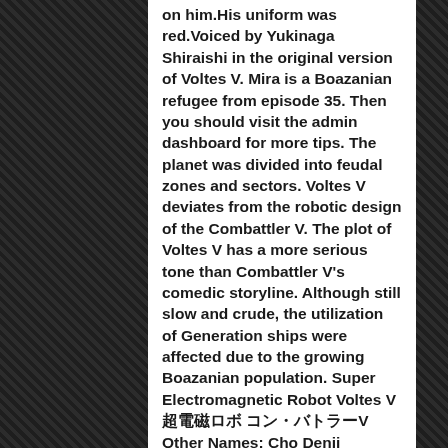on him.His uniform was red.Voiced by Yukinaga Shiraishi in the original version of Voltes V. Mira is a Boazanian refugee from episode 35. Then you should visit the admin dashboard for more tips. The planet was divided into feudal zones and sectors. Voltes V deviates from the robotic design of the Combattler V. The plot of Voltes V has a more serious tone than Combattler V's comedic storyline. Although still slow and crude, the utilization of Generation ships were affected due to the growing Boazanian population. Super Electromagnetic Robot Voltes V 超電磁ロボ コン・バトラーV Other Names: Cho Denji Machine Voltes V S...